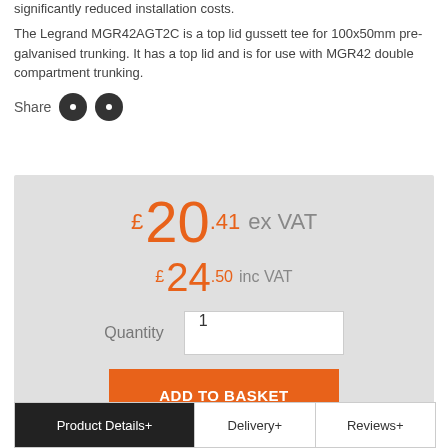significantly reduced installation costs.
The Legrand MGR42AGT2C is a top lid gussett tee for 100x50mm pre-galvanised trunking. It has a top lid and is for use with MGR42 double compartment trunking.
Share
£ 20.41 ex VAT
£ 24.50 inc VAT
Quantity 1
ADD TO BASKET
Add to wishlist
| Product Details+ | Delivery+ | Reviews+ |
| --- | --- | --- |